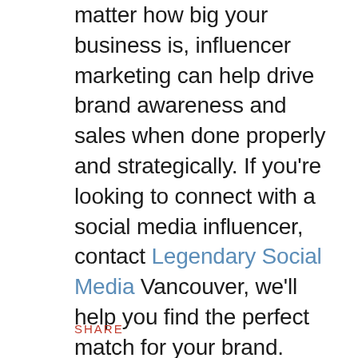matter how big your business is, influencer marketing can help drive brand awareness and sales when done properly and strategically. If you're looking to connect with a social media influencer, contact Legendary Social Media Vancouver, we'll help you find the perfect match for your brand.
SHARE